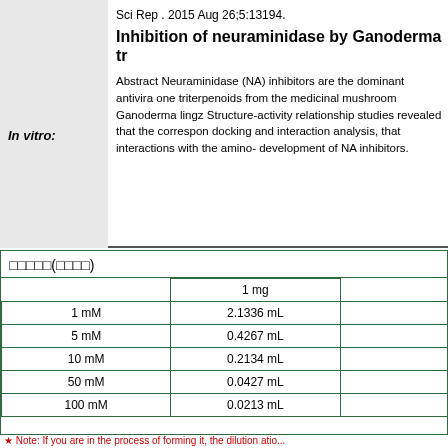Sci Rep . 2015 Aug 26;5:13194.
Inhibition of neuraminidase by Ganoderma tr
In vitro:
Abstract Neuraminidase (NA) inhibitors are the dominant antivira one triterpenoids from the medicinal mushroom Ganoderma lingz Structure-activity relationship studies revealed that the correspon docking and interaction analysis, that interactions with the amino- development of NA inhibitors.
□□□□□(□□□□)
|  | 1 mg |  |
| --- | --- | --- |
| 1 mM | 2.1336 mL |  |
| 5 mM | 0.4267 mL |  |
| 10 mM | 0.2134 mL |  |
| 50 mM | 0.0427 mL |  |
| 100 mM | 0.0213 mL |  |
Note: If you are in the process of forming it, the dilution atio...